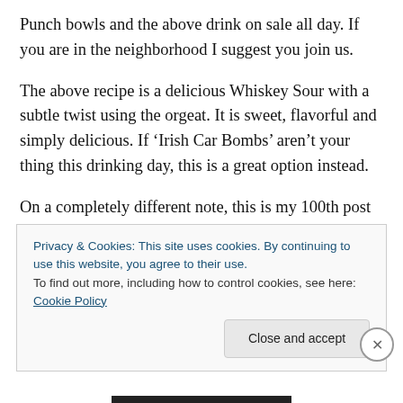Punch bowls and the above drink on sale all day. If you are in the neighborhood I suggest you join us.
The above recipe is a delicious Whiskey Sour with a subtle twist using the orgeat. It is sweet, flavorful and simply delicious. If ‘Irish Car Bombs’ aren’t your thing this drinking day, this is a great option instead.
On a completely different note, this is my 100th post on The Fussy One!!! Seems only fitting that a blog about alcohol would have it’s 100 post on a national drinking day 😐
Privacy & Cookies: This site uses cookies. By continuing to use this website, you agree to their use.
To find out more, including how to control cookies, see here: Cookie Policy
Close and accept